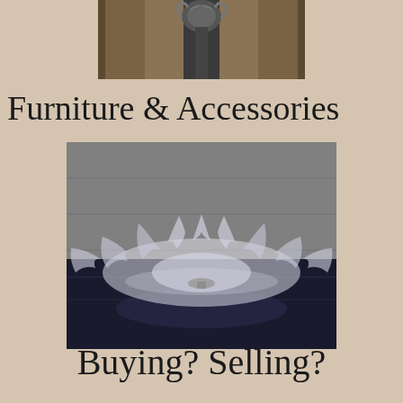[Figure (photo): Top portion of an ornate decorative lamp or candelabra with dark metal/bronze finish, partially cropped at top of page]
Furniture & Accessories
[Figure (photo): A clear glass leaf-shaped decorative bowl or dish sitting on a dark reflective glass surface, with a grey upholstered background]
Buying? Selling?